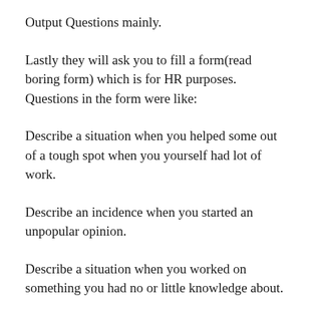Output Questions mainly.
Lastly they will ask you to fill a form(read boring form) which is for HR purposes. Questions in the form were like:
Describe a situation when you helped some out of a tough spot when you yourself had lot of work.
Describe an incidence when you started an unpopular opinion.
Describe a situation when you worked on something you had no or little knowledge about.